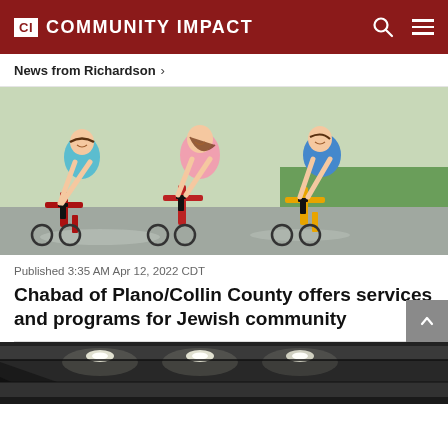CI COMMUNITY IMPACT
News from Richardson >
[Figure (photo): Three young girls riding playground bikes/tricycles outdoors on a wet surface, smiling and playing.]
Published 3:35 AM Apr 12, 2022 CDT
Chabad of Plano/Collin County offers services and programs for Jewish community
[Figure (photo): Partial view of an interior corridor with recessed ceiling lights, dark architectural elements visible at bottom of page.]